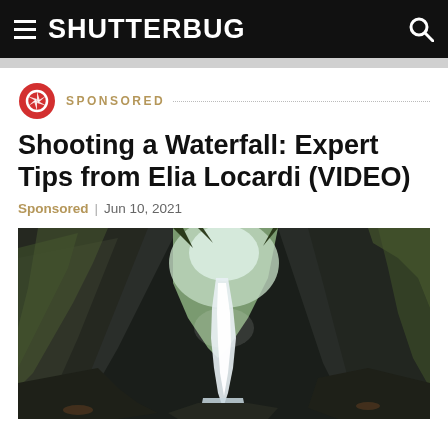SHUTTERBUG
SPONSORED
Shooting a Waterfall: Expert Tips from Elia Locardi (VIDEO)
Sponsored | Jun 10, 2021
[Figure (photo): A dramatic waterfall cascading through a narrow rocky canyon with moss-covered walls and lush green forest above, wide-angle perspective]